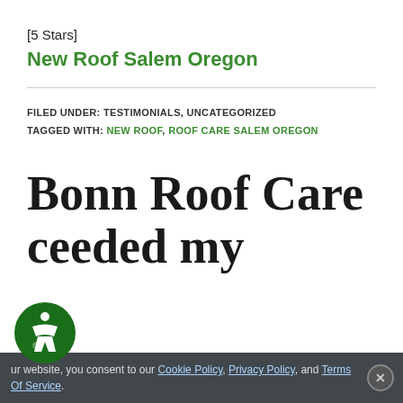[5 Stars]
New Roof Salem Oregon
FILED UNDER: TESTIMONIALS, UNCATEGORIZED
TAGGED WITH: NEW ROOF, ROOF CARE SALEM OREGON
Bonn Roof Care exceeded my
ur website, you consent to our Cookie Policy, Privacy Policy, and Terms Of Service.